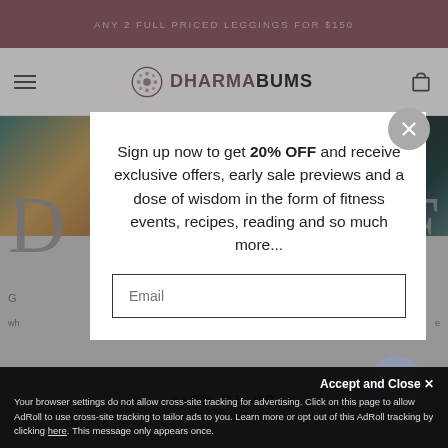ANY 2 FULL PRICED LEGGINGS FOR $150
[Figure (logo): Dharma Bums logo with mandala icon and text DHARMABUMS]
Sign up now to get 20% OFF and receive exclusive offers, early sale previews and a dose of wisdom in the form of fitness events, recipes, reading and so much more...
Email
SIGN ME UP
Accept and Close ✕
Your browser settings do not allow cross-site tracking for advertising. Click on this page to allow AdRoll to use cross-site tracking to tailor ads to you. Learn more or opt out of this AdRoll tracking by clicking here. This message only appears once.